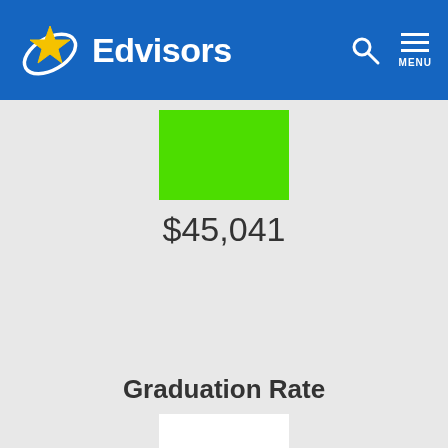Edvisors
$45,041
Graduation Rate